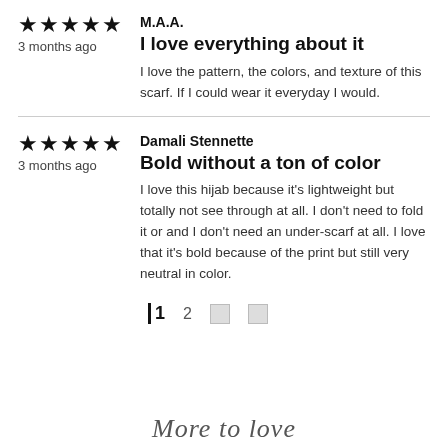★★★★★
3 months ago
M.A.A.
I love everything about it
I love the pattern, the colors, and texture of this scarf. If I could wear it everyday I would.
★★★★★
3 months ago
Damali Stennette
Bold without a ton of color
I love this hijab because it's lightweight but totally not see through at all. I don't need to fold it or and I don't need an under-scarf at all. I love that it's bold because of the print but still very neutral in color.
1  2  ☐  ☐
More to love